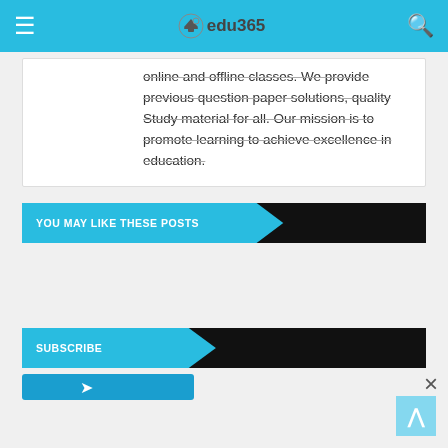edu365 — navigation header with menu and search
online and offline classes. We provide previous question paper solutions, quality Study material for all. Our mission is to promote learning to achieve excellence in education.
YOU MAY LIKE THESE POSTS
SUBSCRIBE
[Figure (screenshot): Partially visible subscribe button with Telegram icon]
[Figure (other): Scroll-to-top arrow button in light blue]